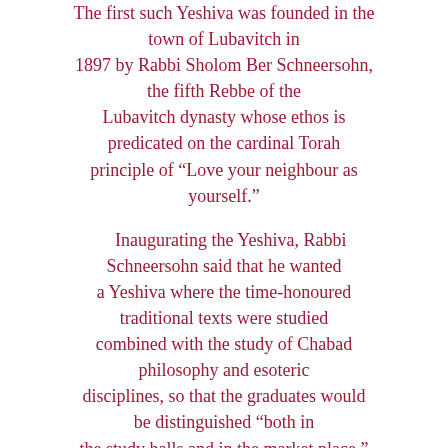The first such Yeshiva was founded in the town of Lubavitch in 1897 by Rabbi Sholom Ber Schneersohn, the fifth Rebbe of the Lubavitch dynasty whose ethos is predicated on the cardinal Torah principle of “Love your neighbour as yourself.”
Inaugurating the Yeshiva, Rabbi Schneersohn said that he wanted a Yeshiva where the time-honoured traditional texts were studied combined with the study of Chabad philosophy and esoteric disciplines, so that the graduates would be distinguished “both in the study halls and in the market place.” They would achieve not only academic excellence but a refinement of their personal development, so that wherever they went, they would illuminate their environment with deeds of goodness